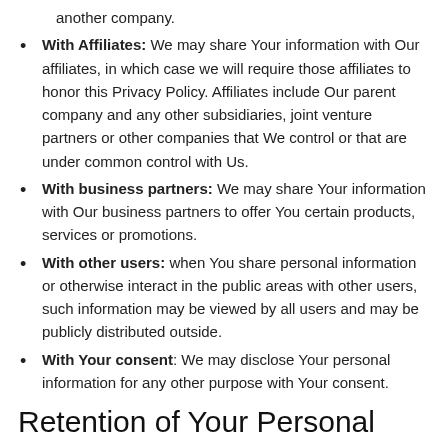another company.
With Affiliates: We may share Your information with Our affiliates, in which case we will require those affiliates to honor this Privacy Policy. Affiliates include Our parent company and any other subsidiaries, joint venture partners or other companies that We control or that are under common control with Us.
With business partners: We may share Your information with Our business partners to offer You certain products, services or promotions.
With other users: when You share personal information or otherwise interact in the public areas with other users, such information may be viewed by all users and may be publicly distributed outside.
With Your consent: We may disclose Your personal information for any other purpose with Your consent.
Retention of Your Personal Data